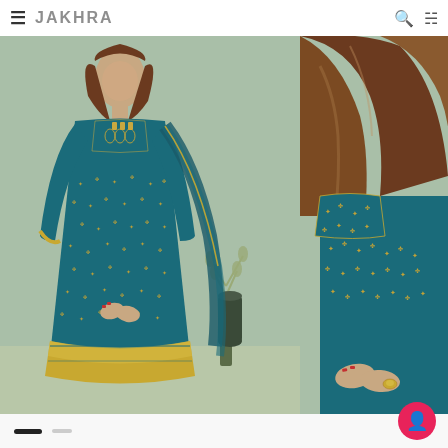JAKHRA (brand navigation header with hamburger menu, search and cart icons)
[Figure (photo): Full-length photograph of a woman wearing a teal/peacock blue embroidered Anarkali suit with gold zari work. The garment features intricate gold embroidery on the yoke/bodice area, all-over gold butis (small motifs) on the main fabric, and a heavily embroidered gold border at the hem. She wears the matching dupatta draped over one arm. Background is a sage green wall with a dried plant arrangement and dark bottle vase.]
[Figure (photo): Close-up/detail photograph of the same woman and outfit, cropped to show the upper body and hands. Shows detailed embroidery work on the sleeve/shoulder area of the teal Anarkali suit with gold zari work. Her hands are visible wearing a gold ring.]
Carousel navigation indicators — active and inactive dots